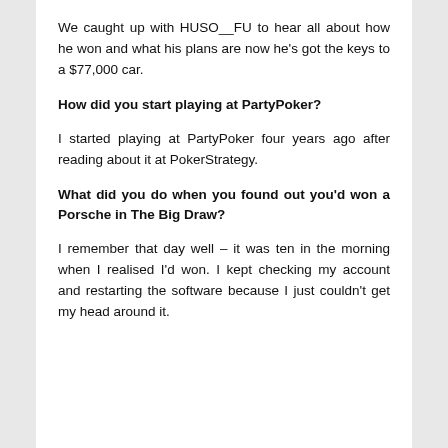We caught up with HUSO__FU to hear all about how he won and what his plans are now he's got the keys to a $77,000 car.
How did you start playing at PartyPoker?
I started playing at PartyPoker four years ago after reading about it at PokerStrategy.
What did you do when you found out you'd won a Porsche in The Big Draw?
I remember that day well – it was ten in the morning when I realised I'd won. I kept checking my account and restarting the software because I just couldn't get my head around it.